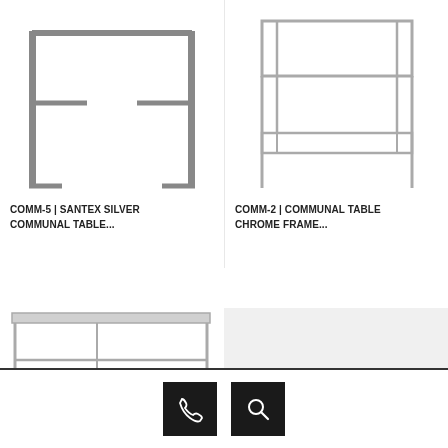[Figure (photo): COMM-5 Santex Silver Communal Table product photo - silver/chrome frame bar table, top portion cut off]
COMM-5 | SANTEX SILVER COMMUNAL TABLE...
[Figure (photo): COMM-2 Communal Table Chrome Frame product photo - chrome wire frame table, top portion]
COMM-2 | COMMUNAL TABLE CHROME FRAME...
[Figure (photo): Third communal table product - chrome/silver frame with surface, partially visible at bottom of page]